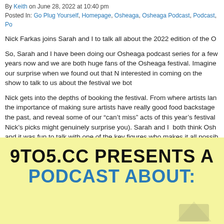By Keith on June 28, 2022 at 10:40 pm
Posted In: Go Plug Yourself, Homepage, Osheaga, Osheaga Podcast, Podcast, Po
Nick Farkas joins Sarah and I to talk all about the 2022 edition of the O
So, Sarah and I have been doing our Osheaga podcast series for a few years now and we are both huge fans of the Osheaga festival. Imagine our surprise when we found out that Nick Farkas was interested in coming on the show to talk to us about the festival we both love.
Nick gets into the depths of booking the festival. From where artists land on the lineup to the importance of making sure artists have really good food backstage. We discuss acts from the past, and reveal some of our “can’t miss” acts of this year’s festival (some of Nick’s picks might genuinely surprise you). Sarah and I both think Osh and it was fun to talk with one of the key figures who makes it all possible.
At the end of the episode I say that I could easily talk for hours about more with Nick. The man plays a big part of keeping Montreal a great music city.
[Figure (illustration): Yellow background promotional image for 9to5.cc podcast about Osheaga. Bold black text reads '9TO5.CC PRESENTS A' and bold blue text reads 'PODCAST ABOUT:' with decorative elements at bottom.]